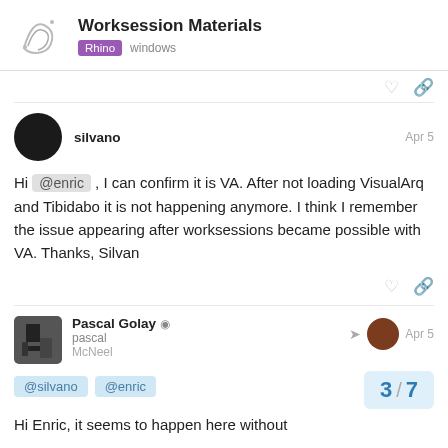Worksession Materials — Rhino  windows
Hi @enric , I can confirm it is VA. After not loading VisualArq and Tibidabo it is not happening anymore. I think I remember the issue appearing after worksessions became possible with VA. Thanks, Silvan
Pascal Golay  pascal  McNeel  Apr 5
@silvano  @enric
Hi Enric,  it seems to happen here without